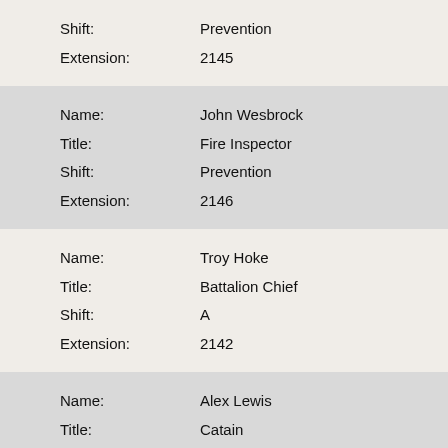Shift: Prevention
Extension: 2145
Name: John Wesbrock
Title: Fire Inspector
Shift: Prevention
Extension: 2146
Name: Troy Hoke
Title: Battalion Chief
Shift: A
Extension: 2142
Name: Alex Lewis
Title: Catain
Shift: A